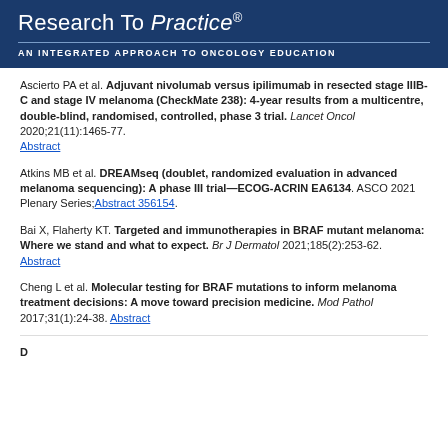Research To Practice® AN INTEGRATED APPROACH TO ONCOLOGY EDUCATION
Ascierto PA et al. Adjuvant nivolumab versus ipilimumab in resected stage IIIB-C and stage IV melanoma (CheckMate 238): 4-year results from a multicentre, double-blind, randomised, controlled, phase 3 trial. Lancet Oncol 2020;21(11):1465-77. Abstract
Atkins MB et al. DREAMseq (doublet, randomized evaluation in advanced melanoma sequencing): A phase III trial—ECOG-ACRIN EA6134. ASCO 2021 Plenary Series; Abstract 356154.
Bai X, Flaherty KT. Targeted and immunotherapies in BRAF mutant melanoma: Where we stand and what to expect. Br J Dermatol 2021;185(2):253-62. Abstract
Cheng L et al. Molecular testing for BRAF mutations to inform melanoma treatment decisions: A move toward precision medicine. Mod Pathol 2017;31(1):24-38. Abstract